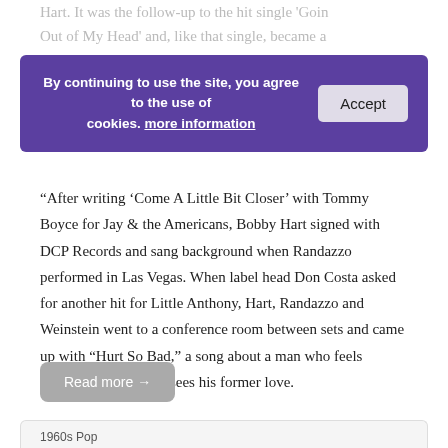Hart. It was the follow-up to the hit single 'Goin Out of My Head' and, like that single, became a Billboard Top 10 hit in January 1965 hit.
By continuing to use the site, you agree to the use of cookies. more information  [Accept]
“After writing ‘Come A Little Bit Closer’ with Tommy Boyce for Jay & the Americans, Bobby Hart signed with DCP Records and sang background when Randazzo performed in Las Vegas. When label head Don Costa asked for another hit for Little Anthony, Hart, Randazzo and Weinstein went to a conference room between sets and came up with “Hurt So Bad,” a song about a man who feels intense pain when he sees his former love.
Read more →
1960s Pop